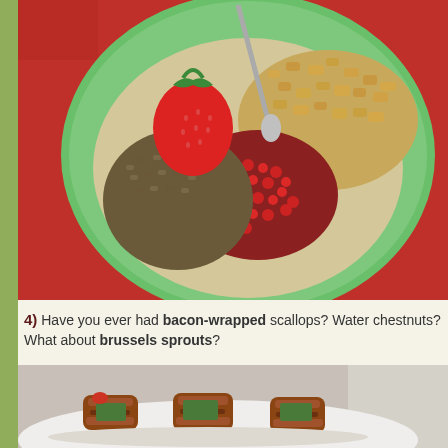[Figure (photo): Overhead view of a green ceramic bowl on a red surface, containing granola, pomegranate seeds, and a fresh strawberry with a spoon]
4)  Have you ever had bacon-wrapped scallops?  Water chestnuts?  What about brussels sprouts?
[Figure (photo): Plate with bacon-wrapped brussels sprouts appetizers on a white plate, close-up view]